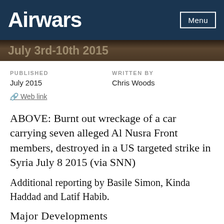Airwars  Menu
July 3rd-10th 2015
PUBLISHED
July 2015
WRITTEN BY
Chris Woods
Web link
ABOVE: Burnt out wreckage of a car carrying seven alleged Al Nusra Front members, destroyed in a US targeted strike in Syria July 8 2015 (via SNN)
Additional reporting by Basile Simon, Kinda Haddad and Latif Habib.
Major Developments
Casualty recorders publish the name of a 200th